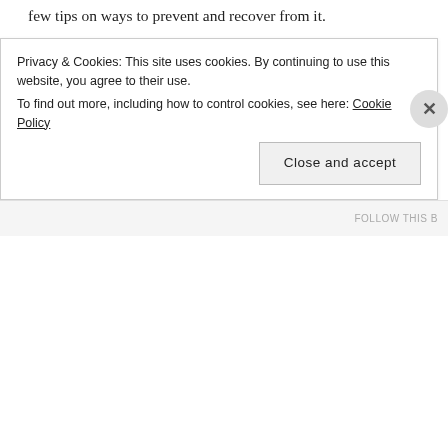few tips on ways to prevent and recover from it.
Time Management: If I could name one thing that gets college students into trouble it's this. If you've never sat down and figured out just how much time you have for your classes, rehearsals, practicing, meals, social time, and other activities, do it! Simply putting pen to paper, or finger to smartphone, can do much to calm one's mind. I encourage my students to schedule their practice time just like any other class – this helps to ensure
Privacy & Cookies: This site uses cookies. By continuing to use this website, you agree to their use.
To find out more, including how to control cookies, see here: Cookie Policy
Close and accept